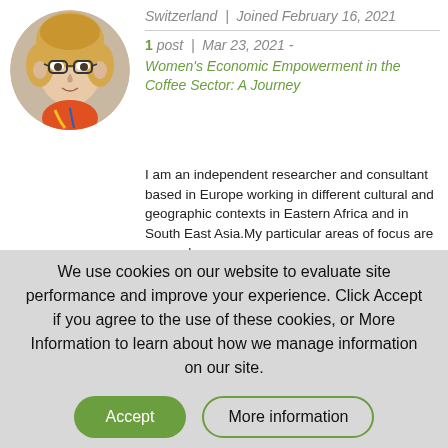[Figure (photo): Circular profile photo of a woman with blonde hair and glasses]
Switzerland | Joined February 16, 2021
1 post | Mar 23, 2021 - Women's Economic Empowerment in the Coffee Sector: A Journey
I am an independent researcher and consultant based in Europe working in different cultural and geographic contexts in Eastern Africa and in South East Asia.My particular areas of focus are women's
We use cookies on our website to evaluate site performance and improve your experience. Click Accept if you agree to the use of these cookies, or More Information to learn about how we manage information on our site.